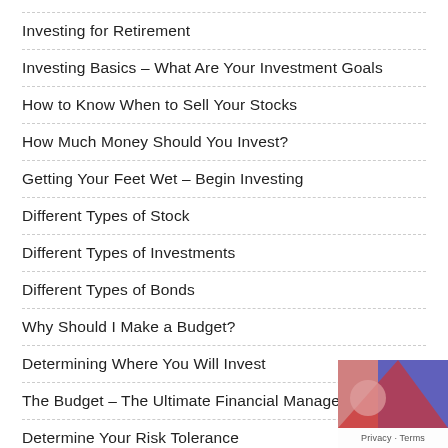Investing for Retirement
Investing Basics – What Are Your Investment Goals
How to Know When to Sell Your Stocks
How Much Money Should You Invest?
Getting Your Feet Wet – Begin Investing
Different Types of Stock
Different Types of Investments
Different Types of Bonds
Why Should I Make a Budget?
Determining Where You Will Invest
The Budget – The Ultimate Financial Management Tool
Determine Your Risk Tolerance
Spend Wisely to Save Money